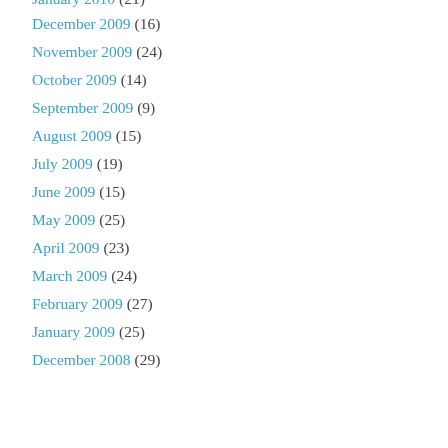January 2010 (21)
December 2009 (16)
November 2009 (24)
October 2009 (14)
September 2009 (9)
August 2009 (15)
July 2009 (19)
June 2009 (15)
May 2009 (25)
April 2009 (23)
March 2009 (24)
February 2009 (27)
January 2009 (25)
December 2008 (29)